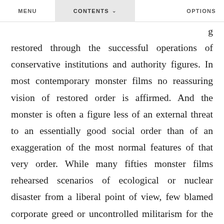MENU   CONTENTS   OPTIONS
g restored through the successful operations of conservative institutions and authority figures. In most contemporary monster films no reassuring vision of restored order is affirmed. And the monster is often a figure less of an external threat to an essentially good social order than of an exaggeration of the most normal features of that very order. While many fifties monster films rehearsed scenarios of ecological or nuclear disaster from a liberal point of view, few blamed corporate greed or uncontrolled militarism for the problem. The new critical monster films often do so, and this motif seems a direct result of the radical movements of the sixties and seventies. The monsters here are